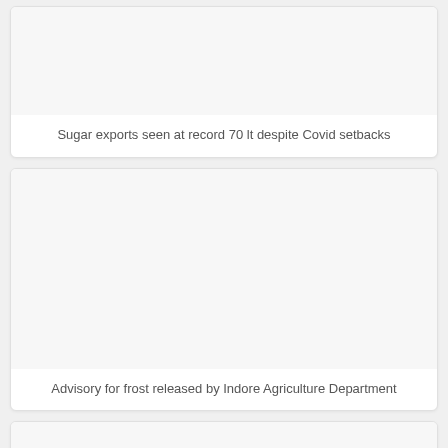Sugar exports seen at record 70 lt despite Covid setbacks
Advisory for frost released by Indore Agriculture Department